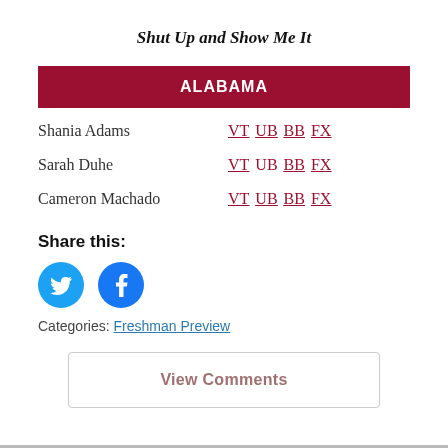Shut Up and Show Me It
ALABAMA
Shania Adams  VT UB BB FX
Sarah Duhe  VT UB BB FX
Cameron Machado  VT UB BB FX
Share this:
[Figure (illustration): Twitter and Facebook social sharing icons (circular blue buttons)]
Categories: Freshman Preview
View Comments